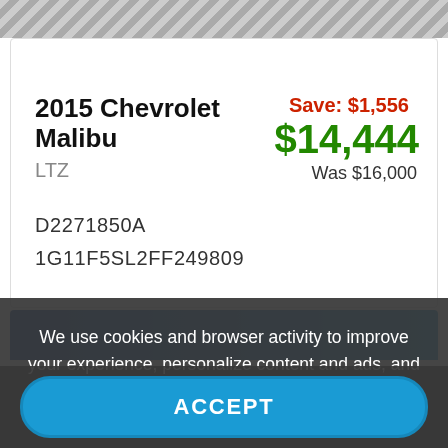[Figure (other): Decorative diamond/chevron pattern header background]
2015 Chevrolet Malibu
LTZ
Save: $1,556
$14,444
Was $16,000
D2271850A
1G11F5SL2FF249809
[Figure (screenshot): Partial view of a second vehicle listing card with blue background]
We use cookies and browser activity to improve your experience, personalize content and ads, and analyze how our sites are used. For more information, view our Privacy Policy.
ACCEPT